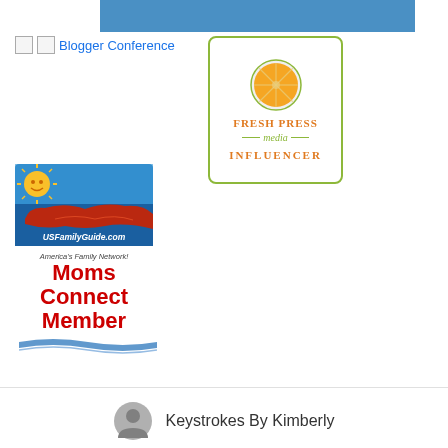[Figure (other): Blue banner at top of page]
Blogger Conference
[Figure (logo): Fresh Press Media Influencer badge with orange citrus logo, green border, text FRESH PRESS media INFLUENCER]
[Figure (logo): USFamilyGuide.com Moms Connect Member badge with eagle/map illustration, sun, blue sky background, red bold text 'Moms Connect Member', 'America's Family Network!']
Keystrokes By Kimberly